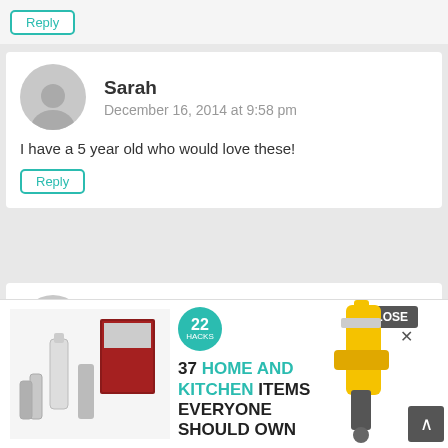[Figure (other): Reply button partial comment card at top]
Sarah
December 16, 2014 at 9:58 pm
I have a 5 year old who would love these!
Reply
Alecia
December 16, 2014 at 10:00 pm
My gi... hem build...
Rep...
[Figure (screenshot): Advertisement overlay: 37 HOME AND KITCHEN ITEMS EVERYONE SHOULD OWN with CLOSE button and scroll-to-top button]